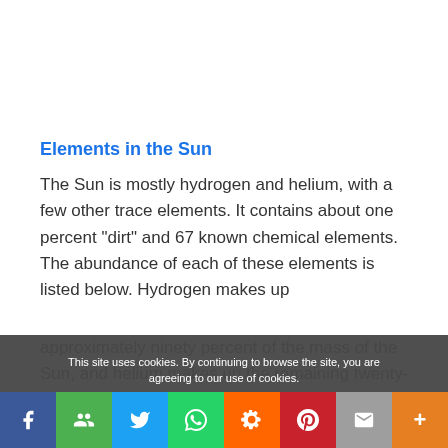Elements in the Sun
The Sun is mostly hydrogen and helium, with a few other trace elements. It contains about one percent "dirt" and 67 known chemical elements. The abundance of each of these elements is listed below. Hydrogen makes up approximately ninety percent of the mass of the Sun, and helium makes up the remaining twenty-seven percent. The elements, such as...
This site uses cookies. By continuing to browse the site, you are agreeing to our use of cookies.